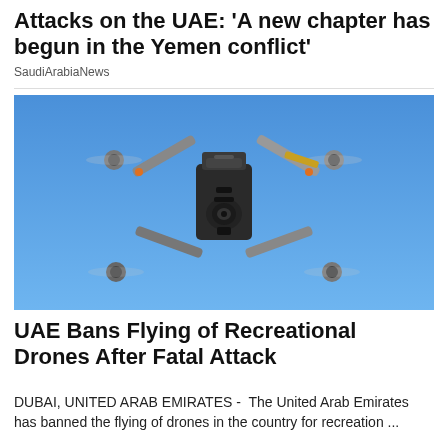Attacks on the UAE: 'A new chapter has begun in the Yemen conflict'
SaudiArabiaNews
[Figure (photo): A DJI drone photographed from below against a clear blue sky, showing the drone's body, camera gimbal, and four extended arms with propellers.]
UAE Bans Flying of Recreational Drones After Fatal Attack
DUBAI, UNITED ARAB EMIRATES -  The United Arab Emirates has banned the flying of drones in the country for recreation ...